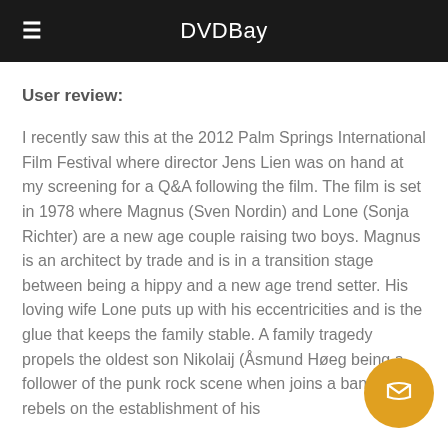DVDBay
User review:
I recently saw this at the 2012 Palm Springs International Film Festival where director Jens Lien was on hand at my screening for a Q&A following the film. The film is set in 1978 where Magnus (Sven Nordin) and Lone (Sonja Richter) are a new age couple raising two boys. Magnus is an architect by trade and is in a transition stage between being a hippy and a new age trend setter. His loving wife Lone puts up with his eccentricities and is the glue that keeps the family stable. A family tragedy propels the oldest son Nikolaij (Åsmund Høeg being a follower of the punk rock scene when joins a band and rebels on the establishment of his